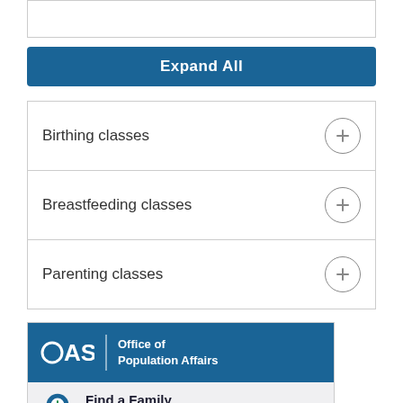[Figure (screenshot): Empty white box with border at top of page]
Expand All
Birthing classes
Breastfeeding classes
Parenting classes
[Figure (logo): OASH Office of Population Affairs logo banner with Find a Family Planning Clinic widget below]